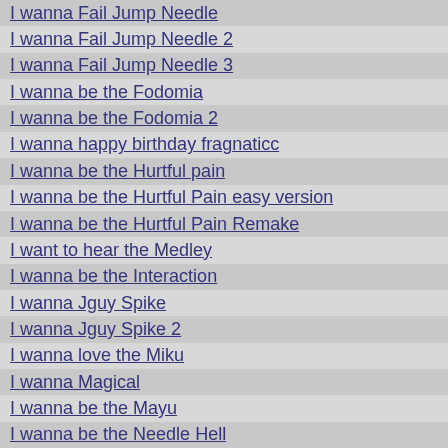I wanna Fail Jump Needle
I wanna Fail Jump Needle 2
I wanna Fail Jump Needle 3
I wanna be the Fodomia
I wanna be the Fodomia 2
I wanna happy birthday fragnaticc
I wanna be the Hurtful pain
I wanna be the Hurtful Pain easy version
I wanna be the Hurtful Pain Remake
I want to hear the Medley
I wanna be the Interaction
I wanna Jguy Spike
I wanna Jguy Spike 2
I wanna love the Miku
I wanna Magical
I wanna be the Mayu
I wanna be the Needle Hell